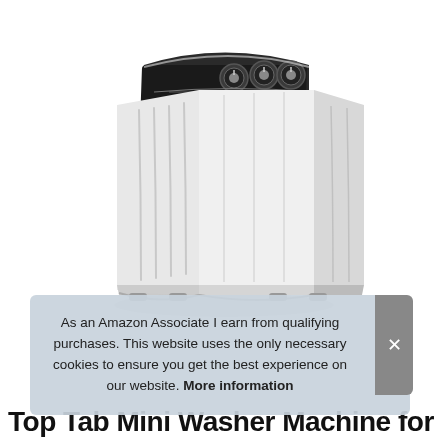[Figure (photo): Product photo of a white twin-tub portable/compact washing machine with black control panel on top featuring three rotary dials, viewed from a 3/4 angle on a white background.]
As an Amazon Associate I earn from qualifying purchases. This website uses the only necessary cookies to ensure you get the best experience on our website. More information
Top Tab Mini Washer Machine for